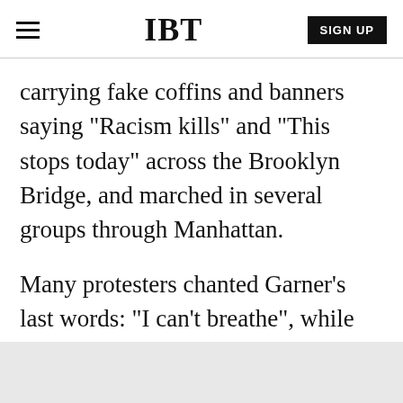IBT
carrying fake coffins and banners saying "Racism kills" and "This stops today" across the Brooklyn Bridge, and marched in several groups through Manhattan.
Many protesters chanted Garner's last words: "I can't breathe", while others also staged so-called "die-ins" protests, in which participants lie on the floor and pretend to be dead.